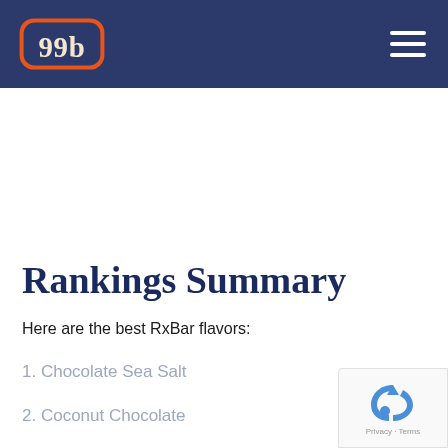99b logo and navigation header
Rankings Summary
Here are the best RxBar flavors:
1. Chocolate Sea Salt
2. Coconut Chocolate